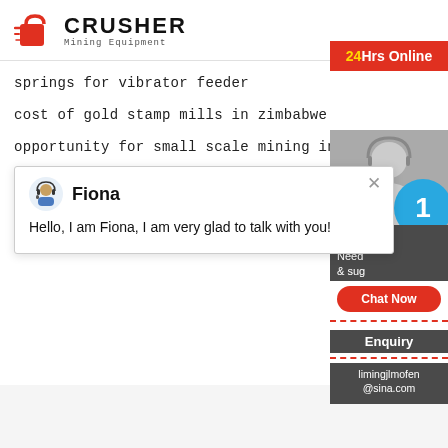[Figure (logo): Crusher Mining Equipment logo with red shopping bag icon and bold CRUSHER text]
springs for vibrator feeder
cost of gold stamp mills in zimbabwe
opportunity for small scale mining in kzn
[Figure (screenshot): Chat popup with Fiona avatar saying: Hello, I am Fiona, I am very glad to talk with you!]
[Figure (infographic): Right sidebar with 24Hrs Online button, support agent image, blue notification circle showing 1, Need & suggestions text, Chat Now button, Enquiry section, and limingjlmofen@sina.com email]